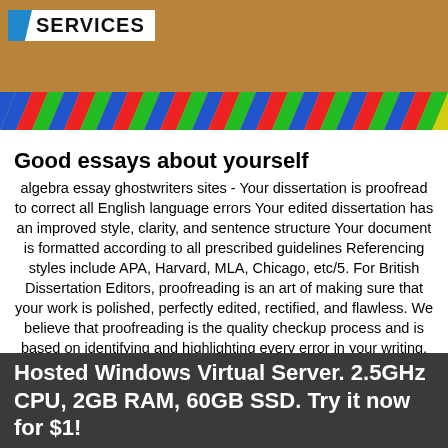[Figure (screenshot): Banner image with SERVICES text and decorative colorful chevron strip, brown/tan background with stacked papers visible]
Good essays about yourself
algebra essay ghostwriters sites - Your dissertation is proofread to correct all English language errors Your edited dissertation has an improved style, clarity, and sentence structure Your document is formatted according to all prescribed guidelines Referencing styles include APA, Harvard, MLA, Chicago, etc/5. For British Dissertation Editors, proofreading is an art of making sure that your work is polished, perfectly edited, rectified, and flawless. We believe that proofreading is the quality checkup process and is based on identifying and highlighting every error in your writing. Our UK dissertation proofreading service is UK's best dissertation proofreading service because we will look at your dissertation microscopically from all the 6 plenus-co-jp.somee.comted Reading Time: 6 mins. apa published dissertation
Hosted Windows Virtual Server. 2.5GHz CPU, 2GB RAM, 60GB SSD. Try it now for $1!